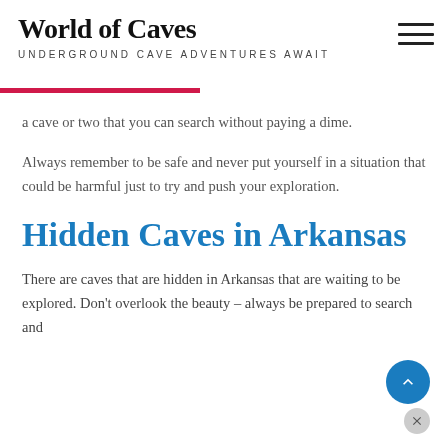World of Caves
UNDERGROUND CAVE ADVENTURES AWAIT
a cave or two that you can search without paying a dime.
Always remember to be safe and never put yourself in a situation that could be harmful just to try and push your exploration.
Hidden Caves in Arkansas
There are caves that are hidden in Arkansas that are waiting to be explored. Don't overlook the beauty – always be prepared to search and